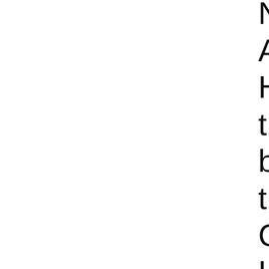Navy Claude A. Assistant Secre Henry Latrobe M the painting from before public vi the mural is par Collection, a br History and He Washington D.C